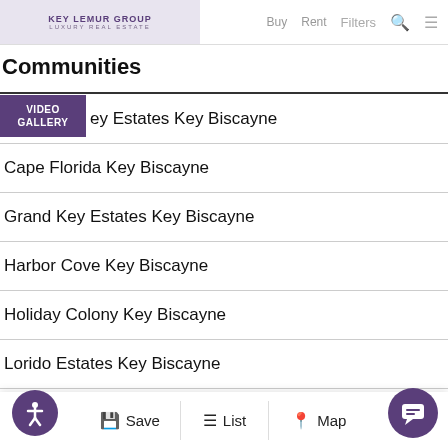Key Lemur Group — Luxury Real Estate | Filters
Communities
VIDEO GALLERY
ey Estates Key Biscayne
Cape Florida Key Biscayne
Grand Key Estates Key Biscayne
Harbor Cove Key Biscayne
Holiday Colony Key Biscayne
Lorido Estates Key Biscayne
Mashta Island Key Biscayne
Matheson Estate K
Premier Estate Key Biscayne
Save  List  Map